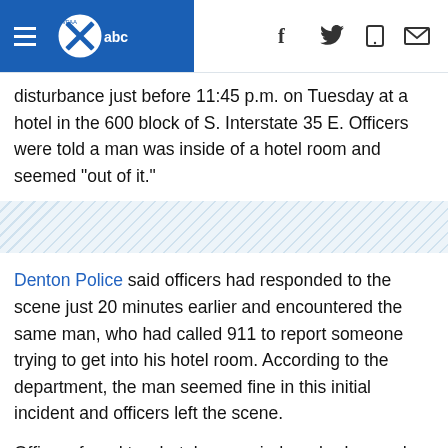WFAA abc — navigation header with social icons
disturbance just before 11:45 p.m. on Tuesday at a hotel in the 600 block of S. Interstate 35 E. Officers were told a man was inside of a hotel room and seemed "out of it."
[Figure (other): Diagonal hatched decorative divider band]
Denton Police said officers had responded to the scene just 20 minutes earlier and encountered the same man, who had called 911 to report someone trying to get into his hotel room. According to the department, the man seemed fine in this initial incident and officers left the scene.
Officers found two hotel room windows broken and a mattress was thrown out on the sidewalk below, Denton Police said. The man could be heard yelling and screaming in the room.